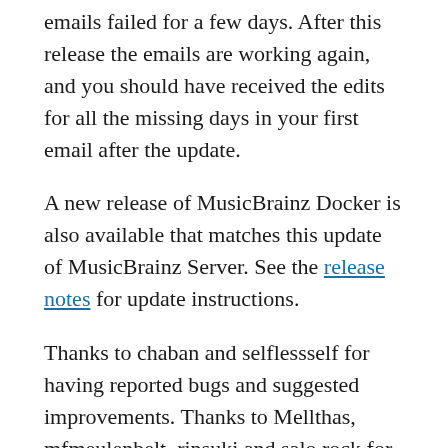emails failed for a few days. After this release the emails are working again, and you should have received the edits for all the missing days in your first email after the update.
A new release of MusicBrainz Docker is also available that matches this update of MusicBrainz Server. See the release notes for update instructions.
Thanks to chaban and selflessself for having reported bugs and suggested improvements. Thanks to Mellthas, mfmeulenbelt, rinsuki and salo.rock for updating the translations. And thanks to all others who tested the beta version!